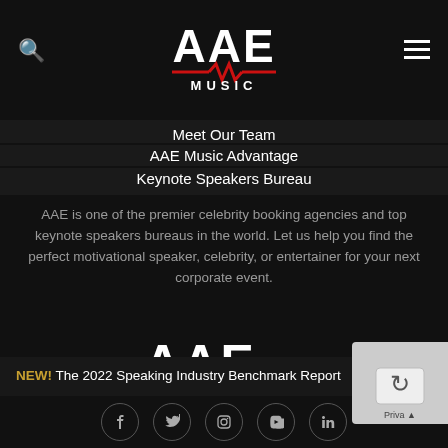[Figure (logo): AAE Music logo — large white letters 'AAE' above a red horizontal line with a zigzag/pulse segment, and 'MUSIC' in white below]
Meet Our Team
AAE Music Advantage
Keynote Speakers Bureau
AAE is one of the premier celebrity booking agencies and top keynote speakers bureaus in the world. Let us help you find the perfect motivational speaker, celebrity, or entertainer for your next corporate event.
[Figure (logo): AAE Music logo — large white letters 'AAE' above a red horizontal line with a zigzag/pulse segment, and 'MUSIC' in white below (footer version)]
NEW! The 2022 Speaking Industry Benchmark Report
[Figure (other): Social media icons row: Facebook, Twitter, Instagram, YouTube, LinkedIn — white outlines on dark background in circular borders]